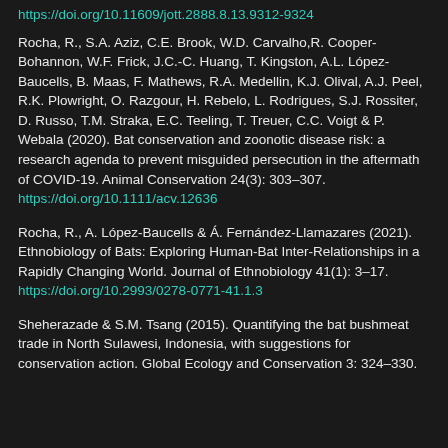https://doi.org/10.11609/jott.2888.8.13.9312-9324
Rocha, R., S.A. Aziz, C.E. Brook, W.D. Carvalho, R. Cooper-Bohannon, W.F. Frick, J.C.-C. Huang, T. Kingston, A.L. López-Baucells, B. Maas, F. Mathews, R.A. Medellin, K.J. Olival, A.J. Peel, R.K. Plowright, O. Razgour, H. Rebelo, L. Rodrigues, S.J. Rossiter, D. Russo, T.M. Straka, E.C. Teeling, T. Treuer, C.C. Voigt & P. Webala (2020). Bat conservation and zoonotic disease risk: a research agenda to prevent misguided persecution in the aftermath of COVID-19. Animal Conservation 24(3): 303–307.
https://doi.org/10.1111/acv.12636
Rocha, R., A. López-Baucells & Á. Fernández-Llamazares (2021). Ethnobiology of Bats: Exploring Human-Bat Inter-Relationships in a Rapidly Changing World. Journal of Ethnobiology 41(1): 3–17.
https://doi.org/10.2993/0278-0771-41.1.3
Sheherazade & S.M. Tsang (2015). Quantifying the bat bushmeat trade in North Sulawesi, Indonesia, with suggestions for conservation action. Global Ecology and Conservation 3: 324–330.